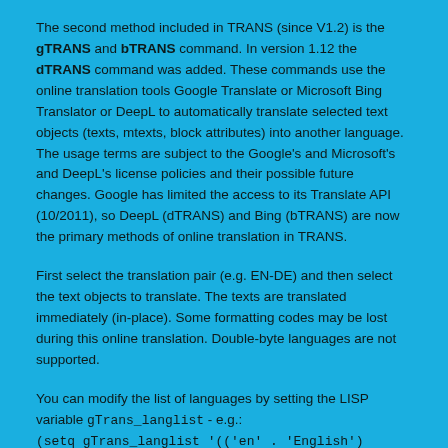The second method included in TRANS (since V1.2) is the gTRANS and bTRANS command. In version 1.12 the dTRANS command was added. These commands use the online translation tools Google Translate or Microsoft Bing Translator or DeepL to automatically translate selected text objects (texts, mtexts, block attributes) into another language. The usage terms are subject to the Google's and Microsoft's and DeepL's license policies and their possible future changes. Google has limited the access to its Translate API (10/2011), so DeepL (dTRANS) and Bing (bTRANS) are now the primary methods of online translation in TRANS.
First select the translation pair (e.g. EN-DE) and then select the text objects to translate. The texts are translated immediately (in-place). Some formatting codes may be lost during this online translation. Double-byte languages are not supported.
You can modify the list of languages by setting the LISP variable gTrans_langlist - e.g.: (setq gTrans_langlist '(('en' . 'English') (('nl' . 'Nederlands')('nl' . 'French')('nl' ...